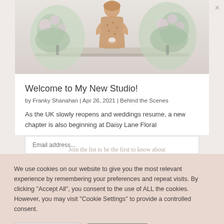[Figure (photo): Woman in floral dress standing between large floral arrangements with greenery and purple/white flowers]
Welcome to My New Studio!
by Franky Shanahan | Apr 26, 2021 | Behind the Scenes
As the UK slowly reopens and weddings resume, a new chapter is also beginning at Daisy Lane Floral
We use cookies on our website to give you the most relevant experience by remembering your preferences and repeat visits. By clicking "Accept All", you consent to the use of ALL the cookies. However, you may visit "Cookie Settings" to provide a controlled consent.
Cookie Settings
Accept All